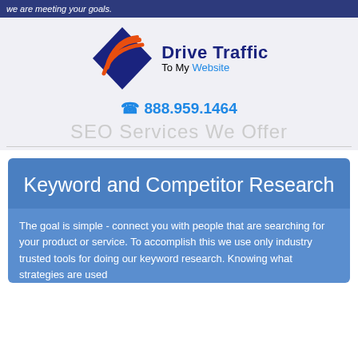we are meeting your goals.
[Figure (logo): Drive Traffic To My Website logo with swoosh graphic and text]
888.959.1464
SEO Services We Offer
Keyword and Competitor Research
The goal is simple - connect you with people that are searching for your product or service. To accomplish this we use only industry trusted tools for doing our keyword research. Knowing what strategies are used